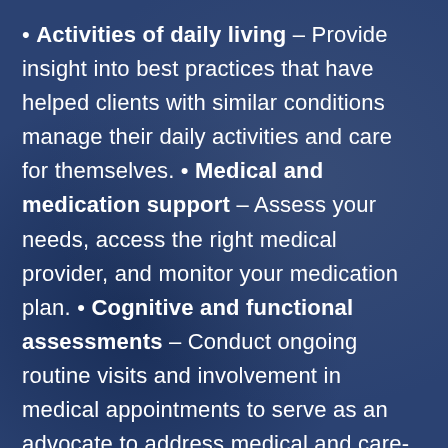Activities of daily living – Provide insight into best practices that have helped clients with similar conditions manage their daily activities and care for themselves.
Medical and medication support – Assess your needs, access the right medical provider, and monitor your medication plan.
Cognitive and functional assessments – Conduct ongoing routine visits and involvement in medical appointments to serve as an advocate to address medical and care-related issues and insurance concerns.